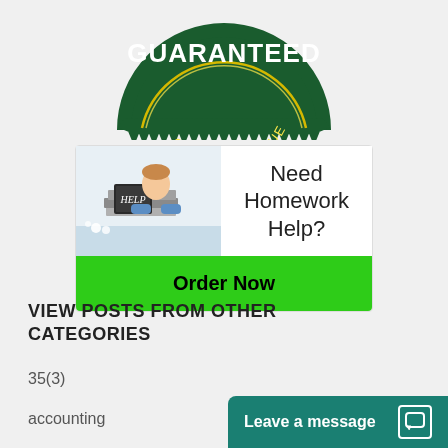[Figure (logo): Dark green guaranteed quality value badge/seal, half-circle shape with scalloped edge, gold ring, text GUARANTEED in white, QUALITY • VALUE in gold]
[Figure (illustration): Advertisement banner: student resting head on stack of books holding a HELP chalkboard sign, with text 'Need Homework Help?' and a green Order Now button]
VIEW POSTS FROM OTHER CATEGORIES
35(3)
accounting
Leave a message